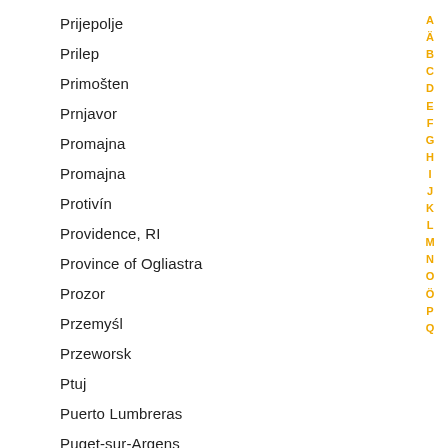Prijepolje
Prilep
Primošten
Prnjavor
Promajna
Promajna
Protivín
Providence, RI
Province of Ogliastra
Prozor
Przemyśl
Przeworsk
Ptuj
Puerto Lumbreras
Puget-sur-Argens